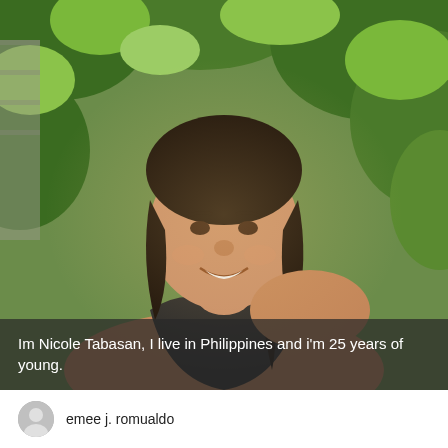[Figure (photo): A young woman smiling, looking over her shoulder, with dark hair pulled back. She is wearing a dark top with thin straps. The background shows green tropical leaves and a stone wall, with warm golden light.]
Im Nicole Tabasan, I live in Philippines and i'm 25 years of young.
emee j. romualdo